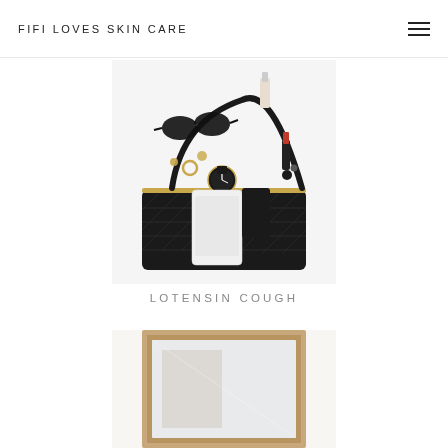FIFI LOVES SKIN CARE
[Figure (photo): Flat lay of a black quilted crossbody bag with accessories spilled out: sunglasses, nail polish, lipstick, a watch, rings, earrings, a smartphone, and other beauty items on a white background.]
LOTENSIN COUGH
[Figure (photo): Partial view of a second blog post image, showing a framed mirror or artwork on a light background.]